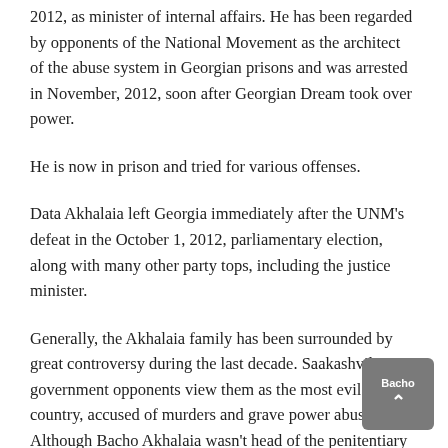2012, as minister of internal affairs. He has been regarded by opponents of the National Movement as the architect of the abuse system in Georgian prisons and was arrested in November, 2012, soon after Georgian Dream took over power.
He is now in prison and tried for various offenses.
Data Akhalaia left Georgia immediately after the UNM's defeat in the October 1, 2012, parliamentary election, along with many other party tops, including the justice minister.
Generally, the Akhalaia family has been surrounded by great controversy during the last decade. Saakashvili government opponents view them as the most evil in the country, accused of murders and grave power abuse. Although Bacho Akhalaia wasn't head of the penitentiary during the release of the infamous videos depicting appalling abuse of inmates